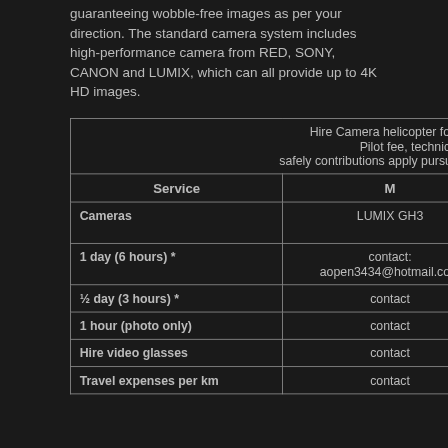guaranteeing wobble-free images as per your direction. The standard camera system includes high-performance camera from RED, SONY, CANON and LUMIX, which can all provide up to 4K HD images.
| Service | M | L | XL |
| --- | --- | --- | --- |
| Hire Camera helicopter for photo and film production
Pilot fee, technical equipment incl.
safely contributions apply pursuant to insurance, social security. |  |  |  |
| Cameras | LUMIX GH3 | Canon EOS 5D MKIII
SONY HDR-CX730 | RED scarlet-X 4K |
| 1 day (6 hours) * | contact: aopen3434@hotmail.com | contact | contact |
| ½ day (3 hours) * | contact | contact | contact |
| 1 hour (photo only) | contact |  |  |
| Hire video glasses | contact | contact | contact |
| Travel expenses per km | contact | contact | contact |